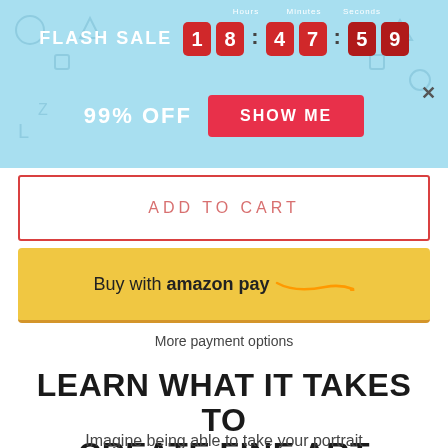[Figure (screenshot): Flash sale banner with countdown timer showing 18:47:59, 99% OFF text and SHOW ME button on light blue background]
ADD TO CART
[Figure (logo): Buy with amazon pay button - yellow button with amazon pay logo]
More payment options
LEARN WHAT IT TAKES TO CREATE FINE ART PORTRAITURE
Imagine being able to take your portrait